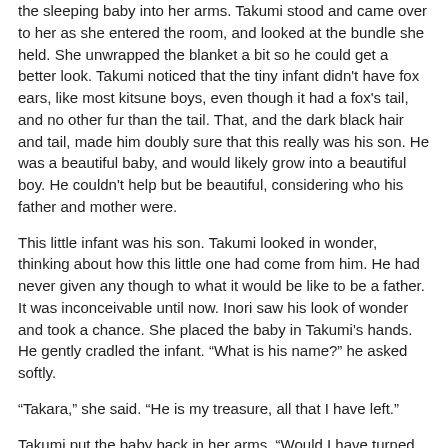the sleeping baby into her arms. Takumi stood and came over to her as she entered the room, and looked at the bundle she held. She unwrapped the blanket a bit so he could get a better look. Takumi noticed that the tiny infant didn't have fox ears, like most kitsune boys, even though it had a fox's tail, and no other fur than the tail. That, and the dark black hair and tail, made him doubly sure that this really was his son. He was a beautiful baby, and would likely grow into a beautiful boy. He couldn't help but be beautiful, considering who his father and mother were.
This little infant was his son. Takumi looked in wonder, thinking about how this little one had come from him. He had never given any though to what it would be like to be a father. It was inconceivable until now. Inori saw his look of wonder and took a chance. She placed the baby in Takumi's hands. He gently cradled the infant. “What is his name?” he asked softly.
“Takara,” she said. “He is my treasure, all that I have left.”
Takumi put the baby back in her arms. “Would I have turned out differently if I’d had a mother like you, or would everything still be the same?” He shook his head and turned to go. “I won’t bother you again,” he said walking towards the door.
“Takumi, wait!” she said catching up to him. When he turned she gave him a kiss, not as long as she would have liked to. “Please, don’t get yourself killed or in trouble,” she pleaded. “I won’t be around to take care of you.”